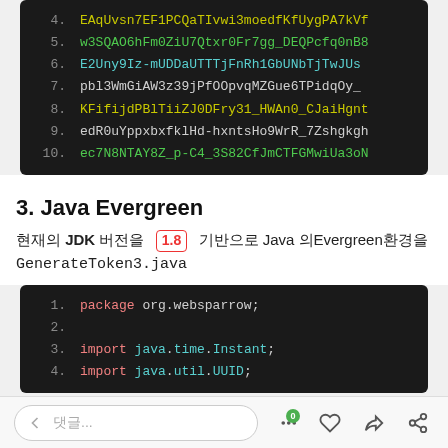[Figure (screenshot): Code block showing numbered lines 4-10 of a token list with colored monospace text on dark background]
3. Java Evergreen
현재의 JDK 버전을  1.8  기반으로 Java 의Evergreen환경을 GenerateToken3.java
[Figure (screenshot): Code block showing Java source file beginning: package org.websparrow; import java.time.Instant; import java.util.UUID;]
댓글... 0 ♡ 👍 share